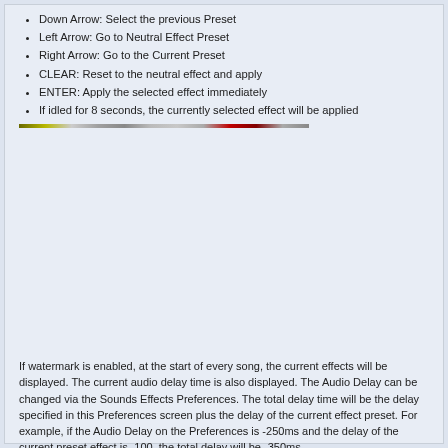Down Arrow: Select the previous Preset
Left Arrow: Go to Neutral Effect Preset
Right Arrow: Go to the Current Preset
CLEAR: Reset to the neutral effect and apply
ENTER: Apply the selected effect immediately
If idled for 8 seconds, the currently selected effect will be applied
If watermark is enabled, at the start of every song, the current effects will be displayed. The current audio delay time is also displayed. The Audio Delay can be changed via the Sounds Effects Preferences. The total delay time will be the delay specified in this Preferences screen plus the delay of the current effect preset. For example, if the Audio Delay on the Preferences is -250ms and the delay of the current preset effect is -100, the total delay will be -350ms.